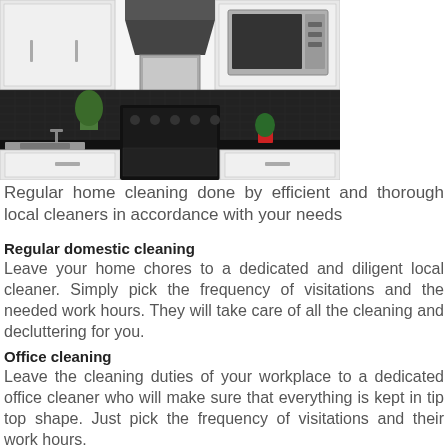[Figure (photo): A modern white kitchen with black tile backsplash, black range cooker, stainless steel chimney hood, stainless steel microwave, sink on left, green plants, and red pot on counter.]
Regular home cleaning done by efficient and thorough local cleaners in accordance with your needs
Regular domestic cleaning
Leave your home chores to a dedicated and diligent local cleaner. Simply pick the frequency of visitations and the needed work hours. They will take care of all the cleaning and decluttering for you.
Office cleaning
Leave the cleaning duties of your workplace to a dedicated office cleaner who will make sure that everything is kept in tip top shape. Just pick the frequency of visitations and their work hours.